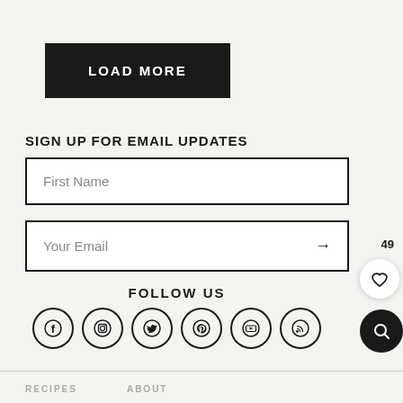LOAD MORE
SIGN UP FOR EMAIL UPDATES
First Name
Your Email
FOLLOW US
[Figure (infographic): Social media icons in circles: Facebook, Instagram, Twitter, Pinterest, YouTube, RSS]
RECIPES   ABOUT